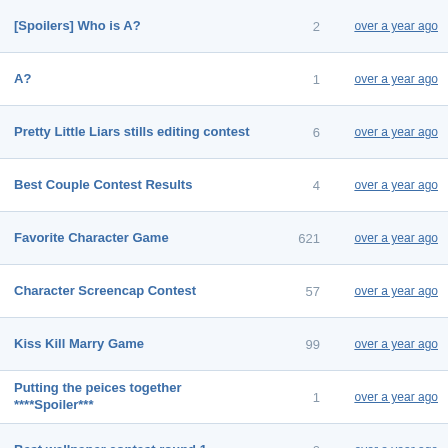[Spoilers] Who is A?	2	over a year ago
A?	1	over a year ago
Pretty Little Liars stills editing contest	6	over a year ago
Best Couple Contest Results	4	over a year ago
Favorite Character Game	621	over a year ago
Character Screencap Contest	57	over a year ago
Kiss Kill Marry Game	99	over a year ago
Putting the peices together ****Spoiler***	1	over a year ago
Best wallpaper contest round 1	0	over a year ago
martintyson01	0	over a year ago
Kicking game :)	49	over a year ago